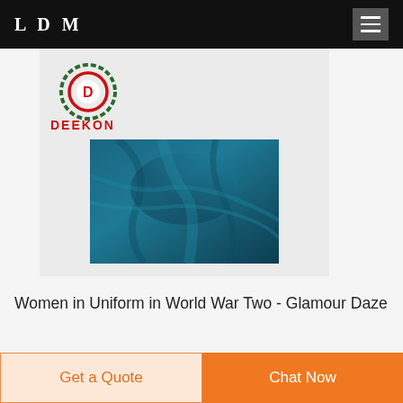LDM
[Figure (logo): Deekon brand logo: circular target-like emblem with letter D in center, red and green rings, with DEEKON text in red below]
[Figure (photo): Close-up photo of teal/dark cyan fabric with textured weave pattern, draped with folds]
Women in Uniform in World War Two - Glamour Daze
...partially visible text line at bottom...